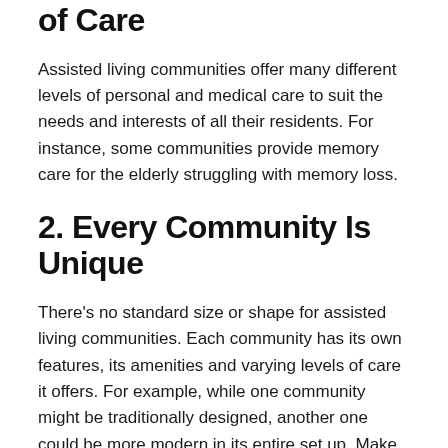1. They Offer Various Levels of Care
Assisted living communities offer many different levels of personal and medical care to suit the needs and interests of all their residents. For instance, some communities provide memory care for the elderly struggling with memory loss.
2. Every Community Is Unique
There's no standard size or shape for assisted living communities. Each community has its own features, its amenities and varying levels of care it offers. For example, while one community might be traditionally designed, another one could be more modern in its entire set up. Make sure you visit the assisted living community in person to see if it suits your lifestyle before making your final decision.
3. Many Communities Are